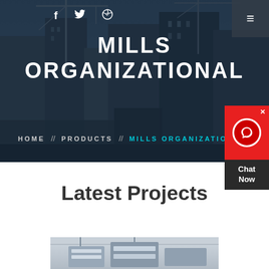[Figure (photo): Hero background: cityscape with construction cranes and tall buildings under a dark blue overlay]
f  Twitter  Dribbble  ≡
MILLS ORGANIZATIONAL
HOME  //  PRODUCTS  //  MILLS ORGANIZATIONAL
[Figure (infographic): Chat Now widget: red top section with headset icon and X close button, dark bottom section with 'Chat Now' text]
Latest Projects
[Figure (photo): Industrial machinery or construction equipment photographed indoors]